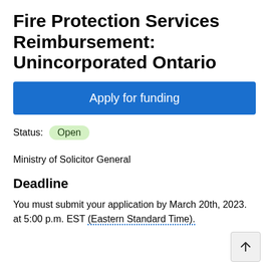Fire Protection Services Reimbursement: Unincorporated Ontario
Apply for funding
Status: Open
Ministry of Solicitor General
Deadline
You must submit your application by March 20th, 2023. at 5:00 p.m. EST (Eastern Standard Time).